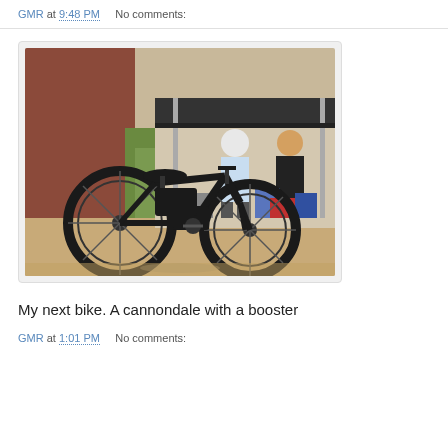GMR at 9:48 PM    No comments:
[Figure (photo): A black electric mountain bike (cannondale with booster) lying on its side on sandy/dirt ground, with people and a canopy tent visible in the background.]
My next bike. A cannondale with a booster
GMR at 1:01 PM    No comments: